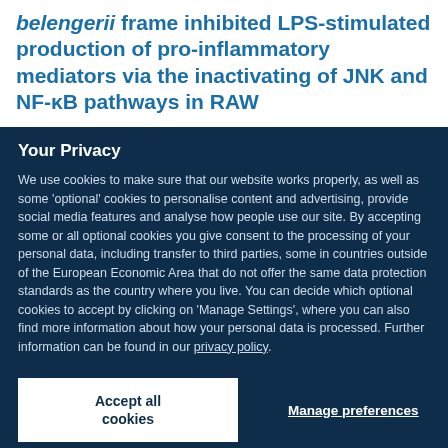belengerii frame inhibited LPS-stimulated production of pro-inflammatory mediators via the inactivating of JNK and NF-κB pathways in RAW
Your Privacy
We use cookies to make sure that our website works properly, as well as some 'optional' cookies to personalise content and advertising, provide social media features and analyse how people use our site. By accepting some or all optional cookies you give consent to the processing of your personal data, including transfer to third parties, some in countries outside of the European Economic Area that do not offer the same data protection standards as the country where you live. You can decide which optional cookies to accept by clicking on 'Manage Settings', where you can also find more information about how your personal data is processed. Further information can be found in our privacy policy.
Accept all cookies
Manage preferences